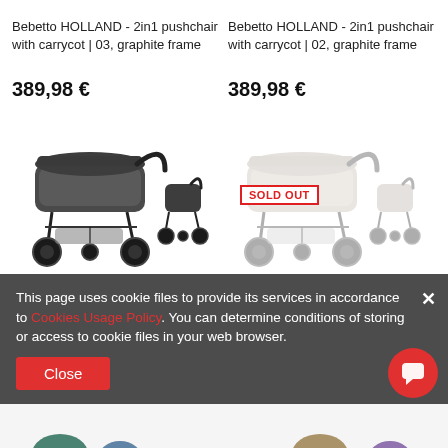Bebetto HOLLAND - 2in1 pushchair with carrycot | 03, graphite frame
389,98 €
[Figure (photo): Bebetto HOLLAND 2in1 pushchair with carrycot, graphite frame, color 03 — dark grey stroller with carrycot and separate pushchair seat unit shown]
Bebetto HOLLAND - 2in1 pushchair with carrycot | 02, graphite frame
389,98 €
[Figure (photo): Bebetto HOLLAND 2in1 pushchair with carrycot, graphite frame, color 02 — light beige/cream stroller shown faded with SOLD OUT badge]
This page uses cookie files to provide its services in accordance to Cookies Usage Policy. You can determine conditions of storing or access to cookie files in your web browser.
Close